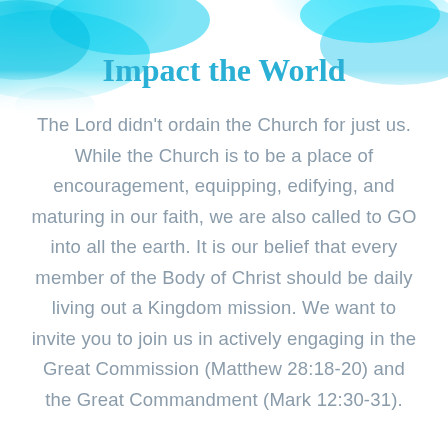Impact the World
The Lord didn't ordain the Church for just us. While the Church is to be a place of encouragement, equipping, edifying, and maturing in our faith, we are also called to GO into all the earth. It is our belief that every member of the Body of Christ should be daily living out a Kingdom mission. We want to invite you to join us in actively engaging in the Great Commission (Matthew 28:18-20) and the Great Commandment (Mark 12:30-31).